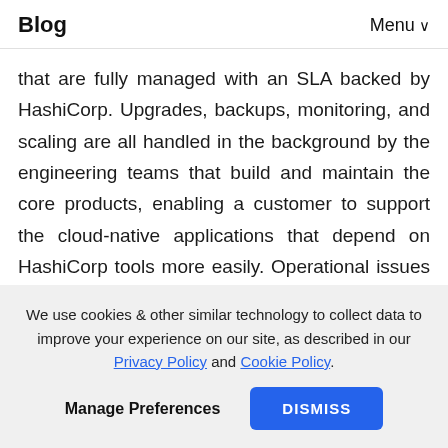Blog   Menu
that are fully managed with an SLA backed by HashiCorp. Upgrades, backups, monitoring, and scaling are all handled in the background by the engineering teams that build and maintain the core products, enabling a customer to support the cloud-native applications that depend on HashiCorp tools more easily. Operational issues can be resolved efficiently since logs, telemetry, and debug information are all readily available to
We use cookies & other similar technology to collect data to improve your experience on our site, as described in our Privacy Policy and Cookie Policy.
Manage Preferences   DISMISS